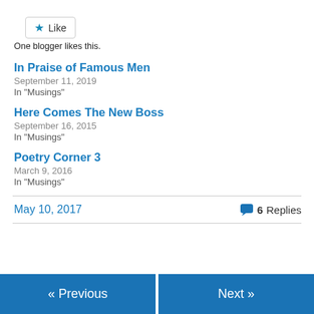[Figure (other): Like button with blue star icon and 'Like' text, bordered rounded rectangle]
One blogger likes this.
In Praise of Famous Men
September 11, 2019
In "Musings"
Here Comes The New Boss
September 16, 2015
In "Musings"
Poetry Corner 3
March 9, 2016
In "Musings"
May 10, 2017
6 Replies
« Previous
Next »